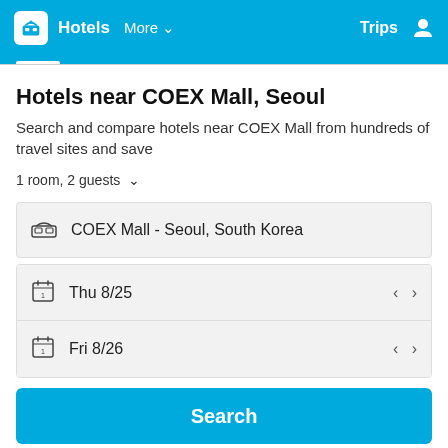Hotels  More  Trips
Hotels near COEX Mall, Seoul
Search and compare hotels near COEX Mall from hundreds of travel sites and save
1 room, 2 guests
COEX Mall - Seoul, South Korea
Thu 8/25
Fri 8/26
Search